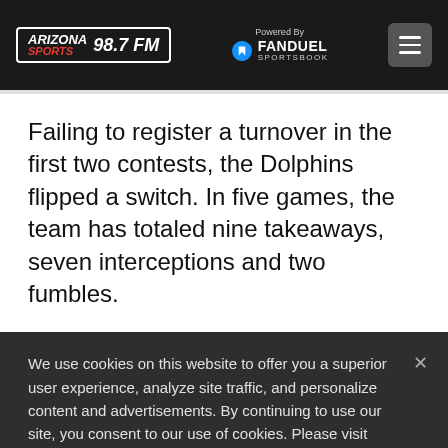[Figure (logo): Arizona Sports 98.7 FM logo with FanDuel Sportsbook 'Powered By' branding and hamburger menu button on dark header bar]
Failing to register a turnover in the first two contests, the Dolphins flipped a switch. In five games, the team has totaled nine takeaways, seven interceptions and two fumbles.
We use cookies on this website to offer you a superior user experience, analyze site traffic, and personalize content and advertisements. By continuing to use our site, you consent to our use of cookies. Please visit our Privacy Policy for more information.
Accept Cookies